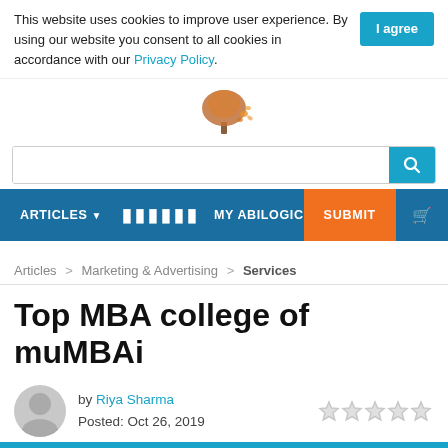This website uses cookies to improve user experience. By using our website you consent to all cookies in accordance with our Privacy Policy. I agree
[Figure (illustration): Tree illustration with orange autumn leaves]
Search bar with teal search button
ARTICLES  MY ABILOGIC  SUBMIT
Articles > Marketing & Advertising > Services
Top MBA college of muMBAi
by Riya Sharma
Posted: Oct 26, 2019